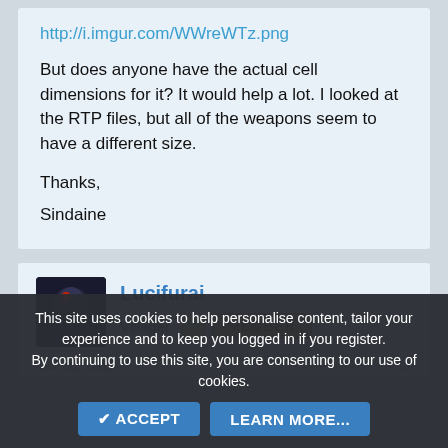http://i.imgur.com/WWreWTz.png
But does anyone have the actual cell dimensions for it? It would help a lot. I looked at the RTP files, but all of the weapons seem to have a different size.
Thanks,
Sindaine
Lucifurai
Villager
[Figure (screenshot): Member badge with egg icon and golden MEMBER button]
This site uses cookies to help personalise content, tailor your experience and to keep you logged in if you register. By continuing to use this site, you are consenting to our use of cookies.
ACCEPT   LEARN MORE...